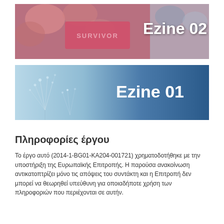[Figure (photo): Banner image showing people holding a pink shirt that reads SURVIVOR, with bold white text 'Ezine 02' overlaid on the right side]
[Figure (photo): Banner image showing a light blue background with dandelion seeds, with bold white text 'Ezine 01' overlaid on the right side]
Πληροφορίες έργου
Το έργο αυτό (2014-1-BG01-KA204-001721) χρηματοδοτήθηκε με την υποστήριξη της Ευρωπαϊκής Επιτροπής. Η παρούσα ανακοίνωση αντικατοπτρίζει μόνο τις απόψεις του συντάκτη και η Επιτροπή δεν μπορεί να θεωρηθεί υπεύθυνη για οποιαδήποτε χρήση των πληροφοριών που περιέχονται σε αυτήν.